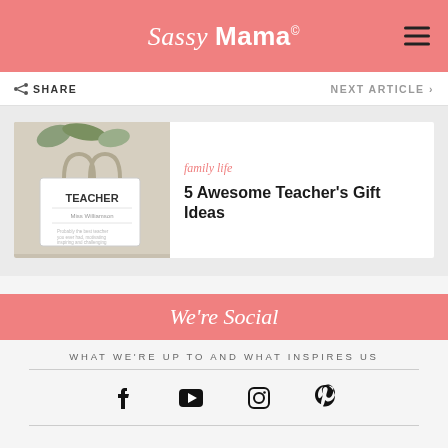Sassy Mama
SHARE
NEXT ARTICLE
family life
5 Awesome Teacher's Gift Ideas
We're Social
WHAT WE'RE UP TO AND WHAT INSPIRES US
[Figure (infographic): Social media icons: Facebook, YouTube, Instagram, Pinterest]
Like what you see?